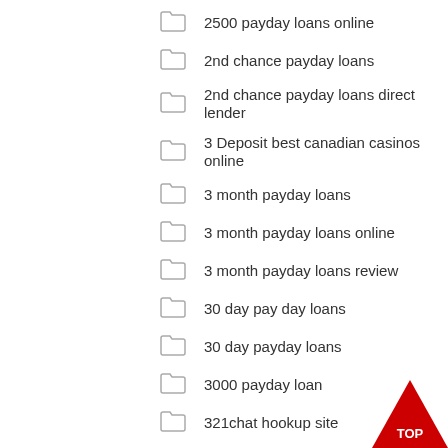2500 payday loans online
2nd chance payday loans
2nd chance payday loans direct lender
3 Deposit best canadian casinos online
3 month payday loans
3 month payday loans online
3 month payday loans review
30 day pay day loans
30 day payday loans
3000 payday loan
321chat hookup site